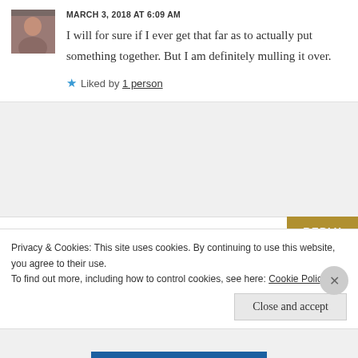[Figure (photo): Small avatar photo of a woman, profile picture for comment]
MARCH 3, 2018 AT 6:09 AM
I will for sure if I ever get that far as to actually put something together. But I am definitely mulling it over.
Liked by 1 person
[Figure (photo): Avatar thumbnail of flowers/daisies in a field for watchingthedaisies user]
watchingthedaisies says:
MARCH 2, 2018 AT 6:00 AM
Privacy & Cookies: This site uses cookies. By continuing to use this website, you agree to their use.
To find out more, including how to control cookies, see here: Cookie Policy
Close and accept